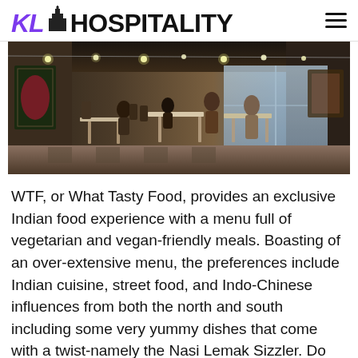KL HOSPITALITY
[Figure (photo): Interior of a restaurant with string lights on the ceiling, people dining at tables, colorful artwork on the walls, and large windows in the background.]
WTF, or What Tasty Food, provides an exclusive Indian food experience with a menu full of vegetarian and vegan-friendly meals. Boasting of an over-extensive menu, the preferences include Indian cuisine, street food, and Indo-Chinese influences from both the north and south including some very yummy dishes that come with a twist-namely the Nasi Lemak Sizzler. Do look out for